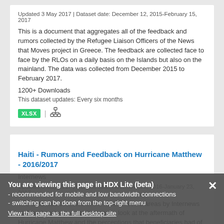Updated 3 May 2017 | Dataset date: December 12, 2015-February 15, 2017
This is a document that aggregates all of the feedback and rumors collected by the Refugee Liaison Officers of the News that Moves project in Greece. The feedback are collected face to face by the RLOs on a daily basis on the Islands but also on the mainland. The data was collected from December 2015 to February 2017.
1200+ Downloads
This dataset updates: Every six months
[Figure (infographic): XLSX green badge and org hierarchy icon]
Haiti - Rumors and Feedback on Hurricane Matthew - 2016/2017
Internews
Updated 3 May 2017 | Dataset date: November 03, 2016-January 23, 2017
The data was collected in the most affected areas by Internews staff and partners organizations to look at the aftermath of Hurricane Matthew and the perceptions that beneficiaries had of the response overall.
1100+ Downloads
You are viewing this page in HDX Lite (beta)
- recommended for mobile and low bandwidth connections
- switching can be done from the top-right menu
View this page as the full desktop site